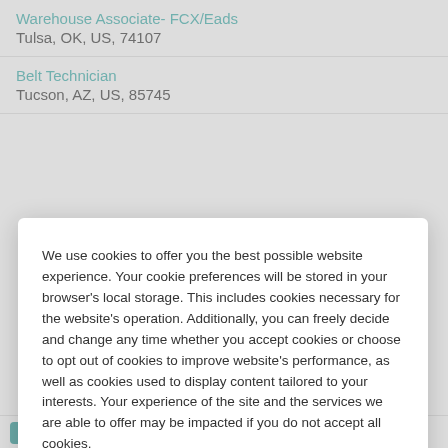Warehouse Associate- FCX/Eads
Tulsa, OK, US, 74107
Belt Technician
Tucson, AZ, US, 85745
We use cookies to offer you the best possible website experience. Your cookie preferences will be stored in your browser's local storage. This includes cookies necessary for the website's operation. Additionally, you can freely decide and change any time whether you accept cookies or choose to opt out of cookies to improve website's performance, as well as cookies used to display content tailored to your interests. Your experience of the site and the services we are able to offer may be impacted if you do not accept all cookies.
Modify Cookie Preferences
Accept All Cookies